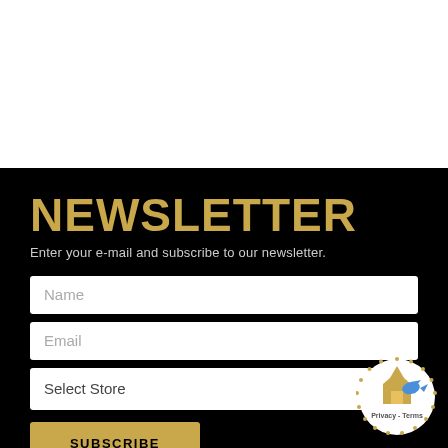NEWSLETTER
Enter your e-mail and subscribe to our newsletter.
Name
Email
Select Store
SUBSCRIBE
[Figure (logo): reCAPTCHA privacy badge with Privacy and Terms links, circular dotted border with house and bird icons]